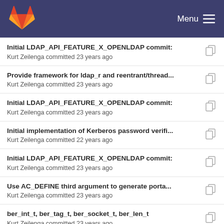GitLab — Menu
Initial LDAP_API_FEATURE_X_OPENLDAP commit: — Kurt Zeilenga committed 23 years ago
Provide framework for ldap_r and reentrant/thread... — Kurt Zeilenga committed 23 years ago
Initial LDAP_API_FEATURE_X_OPENLDAP commit: — Kurt Zeilenga committed 23 years ago
Initial implementation of Kerberos password verifi... — Kurt Zeilenga committed 22 years ago
Initial LDAP_API_FEATURE_X_OPENLDAP commit: — Kurt Zeilenga committed 23 years ago
Use AC_DEFINE third argument to generate porta... — Kurt Zeilenga committed 23 years ago
ber_int_t, ber_tag_t, ber_socket_t, ber_len_t — Kurt Zeilenga committed 23 years ago